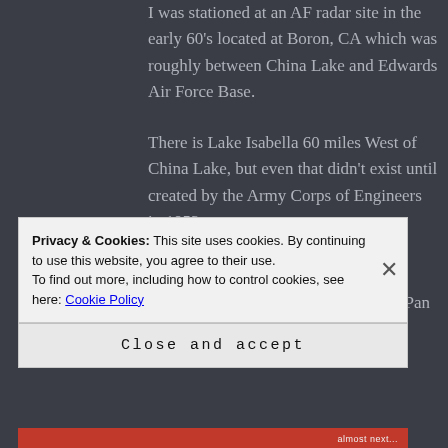I was stationed at an AF radar site in the early 60's located at Boron, CA which was roughly between China Lake and Edwards Air Force Base.
There is Lake Isabella 60 miles West of China Lake, but even that didn't exist until created by the Army Corps of Engineers in 1953.
As far as I've been able to determine, Pan Am's alternate landing area when San Francisco Bay was socked in was
Privacy & Cookies: This site uses cookies. By continuing to use this website, you agree to their use.
To find out more, including how to control cookies, see here: Cookie Policy
Close and accept